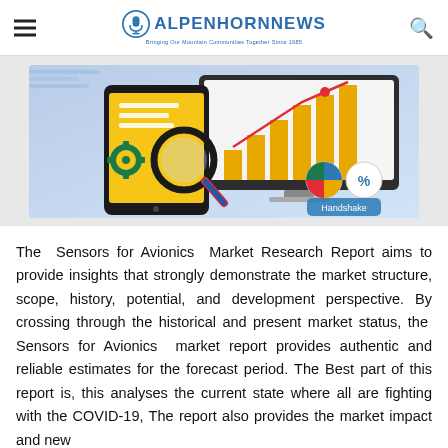ALPENHORNNEWS — Bringing Our Mountain Communities Together Since 1985
[Figure (illustration): Market research illustration showing a tablet with analytics dashboard, a magnifying glass with gears, a bar chart with rising trend line on a monitor screen, and business icons including pie chart and handshake.]
The Sensors for Avionics Market Research Report aims to provide insights that strongly demonstrate the market structure, scope, history, potential, and development perspective. By crossing through the historical and present market status, the Sensors for Avionics market report provides authentic and reliable estimates for the forecast period. The Best part of this report is, this analyses the current state where all are fighting with the COVID-19, The report also provides the market impact and new